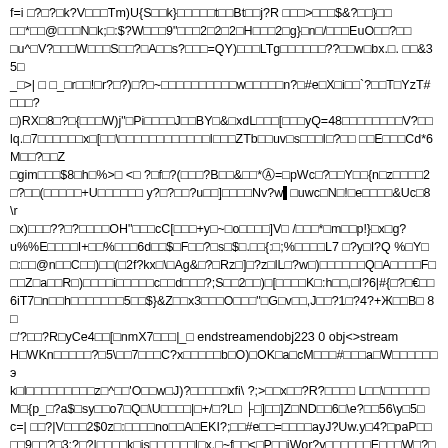f=i □?□?□k?V□□□Tm)U{S□□k}□□□□□t□□Bt□□j?R □□□>□□□$&?□□}□□□□*□□@□□□N□k;□:$?W□□□9"□□□2□2□2□H□□□2□g}□n□/□□□EuO□□?□□□u^□V?□□□W□□□S□□?□A□□s?□□□=QY)□□□LTg□□□□□□??□□w□bx.□. □□&35□_□>|□□_□r□□!□r?□?)□?□~□□□□□□□□□□□w□□□□□n?□#e□X□i□□`?□□T□YzT#□□□?□)RX□8□?□{□□□W)j"□Pi□□□□J□□BY□&□xdL□□□[□□□yQ=48□□□□□□□□V?□□lq.□7□□□□□□x□[□□\□□□□□□□□□□□I□□□ZTb□□uv□s□□□I□?□□ □□E□□□Cd*6M□□?□□Z□gim□□□$8□h□%>□ <□ ?□f□?(□□□?B□□&□□*⑥=□pWc□?□□Y□□{n□z□□□□2□?□□(□□□□□+U□□□□□□ y?□?□□?u□□]□□□□Nv?w■ □uwc□N□!□e□□□□&Uc□8\r□x)□□□??□?□□□□OH"□□□cC[□□□+y□~□o□□□□]V□ /□□□*□m□□p!}□x□g?u%%E□□□□I+□□%□□□6d□□$□F□□?□s□$□.□□{:□;%□□□□L7 □?y□I?Q %□Y□□:□□@n□□C□□)□□(□2f?kx□\□Ag&□?□Rz□]□?z□lL□?w□)□□□□□□Q□A□□□□F□□□Z□a□□R□)□□□□i□□□□□c□□d□□□?;S□□2□□)□[□□□□K□:h□□,□I?6|#{□?□€□□6iT7□n□□h□□□□□□□5□□$}&Z□□x3□□□O□□□"□G□v□□,J□□?1□?4?+Ж□□B□ 8□□'?□□?R□yCe4□□[□nmX7□□□|_□ endstreamendobj223 0 obj<>stream H□WKn□□□□□?□5\□□7□□□C?x□□□□□b□O)□OK□a□cM□□□#□□□a□W□□□□□□э k□l□□□□□□□□□z□^□□'O□□w□J)?□□□□□xfi\ ?;>□□x□□?R?□□□□ L□□\□□□□□□M□{p_□?a$□sy□□o7□Q□\U□□□□|□+/□?L□ ├□]□□]Z□ND□□6□\e?□□56\y□5□c=| □□?|V□□□2$0z□:□□□□no□□A□EKI?;□□#e□□=□□□□ayJ?Uw.y□4?□paP□□□□9□□?□3;?□?|□□□□k□is□□□□□□l□x.□~f□□<□P□□iWor?y□□□□□□E□□□W□?□□□□□□w?□\□□□ □ □□□□$□□#□□□g□□⊙[□□n□?□□□□??l□□?t□?_*Z□□R□4t□/O_□DF□□□s□□□?□? p ~□□t□□P□□□□□□□├v□□□□□□□n□c□S□kO□□ 8Le|□□□□□□8□□□□□G□□□0E□□??P□tUH□=□□□□?□?□□□□□t□□□8s□f□W`□g?□□P□□R□?□?□□'□RA□□?j□□□s□3-□□m□ H-□□□?L#□□□□□e□□l□'[□/F?1□□□□□`,/□Y□□uB□□□□□□$□□?□□g□χ□]d"□uS□>□ _s~□-□IZE□□S□i